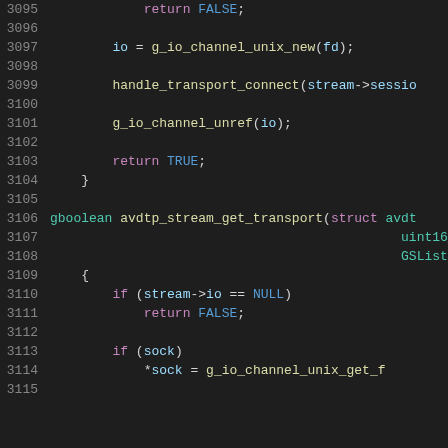Source code listing lines 3095-3115, C code for avdtp stream transport functions
3095: return FALSE;
3096:
3097: io = g_io_channel_unix_new(fd);
3098:
3099: handle_transport_connect(stream->sessio
3100:
3101: g_io_channel_unref(io);
3102:
3103: return TRUE;
3104: }
3105:
3106: gboolean avdtp_stream_get_transport(struct avdt
3107:                                              uint16_
3108:                                              GSList
3109: {
3110:         if (stream->io == NULL)
3111:                 return FALSE;
3112:
3113:         if (sock)
3114:                 *sock = g_io_channel_unix_get_f
3115: